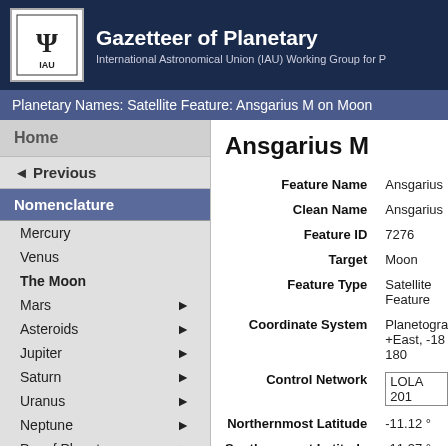Gazetteer of Planetary — International Astronomical Union (IAU) Working Group for P
Planetary Names: Satellite Feature: Ansgarius M on Moon
Home
◄ Previous
Nomenclature
Mercury
Venus
The Moon
Mars ►
Asteroids ►
Jupiter ►
Saturn ►
Uranus ►
Neptune ►
Dwarf Planets ►
Ring and Ring Gap Nomenclature
Planet and Satellite Names, Discoverers, and Themes
Ansgarius M
| Field | Value |
| --- | --- |
| Feature Name | Ansgarius |
| Clean Name | Ansgarius |
| Feature ID | 7276 |
| Target | Moon |
| Feature Type | Satellite Feature |
| Coordinate System | Planetogra +East, -180 180 |
| Control Network | LOLA 201 |
| Northernmost Latitude | -11.12 ° |
| Southernmost Latitude | -11.37 ° |